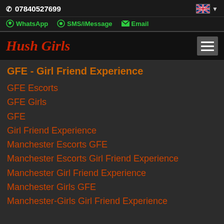07840527699
WhatsApp  SMS/iMessage  Email
Hush Girls
GFE - Girl Friend Experience
GFE Escorts
GFE Girls
GFE
Girl Friend Experience
Manchester Escorts GFE
Manchester Escorts Girl Friend Experience
Manchester Girl Friend Experience
Manchester Girls GFE
Manchester-Girls Girl Friend Experience